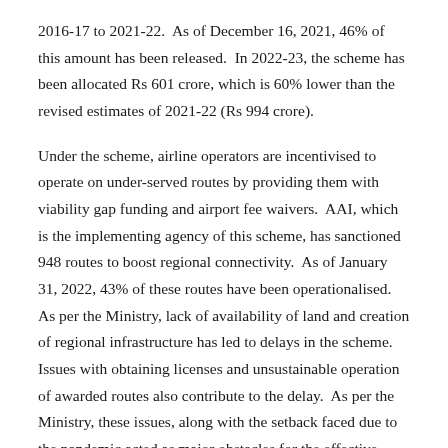2016-17 to 2021-22. As of December 16, 2021, 46% of this amount has been released. In 2022-23, the scheme has been allocated Rs 601 crore, which is 60% lower than the revised estimates of 2021-22 (Rs 994 crore).
Under the scheme, airline operators are incentivised to operate on under-served routes by providing them with viability gap funding and airport fee waivers. AAI, which is the implementing agency of this scheme, has sanctioned 948 routes to boost regional connectivity. As of January 31, 2022, 43% of these routes have been operationalised. As per the Ministry, lack of availability of land and creation of regional infrastructure has led to delays in the scheme. Issues with obtaining licenses and unsustainable operation of awarded routes also contribute to the delay. As per the Ministry, these issues, along with the setback faced due to the pandemic acted as major obstacles for the effective utilisation of funds.